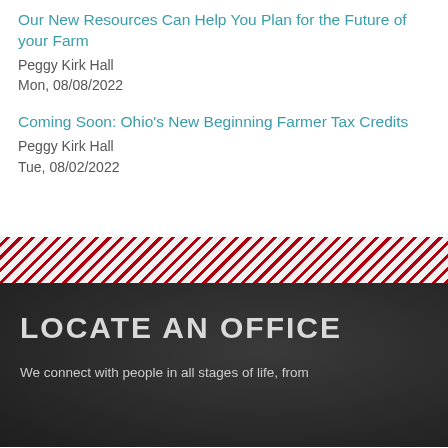Our New Resources Can Help You Plan for the Future of your Farm
Peggy Kirk Hall
Mon, 08/08/2022
Coming Soon: Ohio's New Beginning Farmer Tax Credits
Peggy Kirk Hall
Tue, 08/02/2022
[Figure (infographic): Diagonal red and white striped decorative divider band]
LOCATE AN OFFICE
We connect with people in all stages of life, from